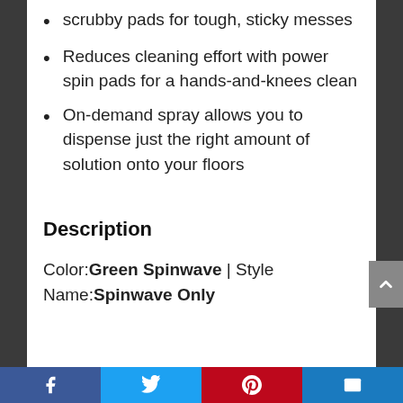scrubby pads for tough, sticky messes
Reduces cleaning effort with power spin pads for a hands-and-knees clean
On-demand spray allows you to dispense just the right amount of solution onto your floors
Description
Color: Green Spinwave | Style Name: Spinwave Only